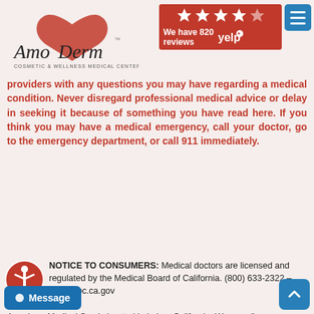AmoDerm Cosmetic & Wellness Medical Center — We have 820 reviews (Yelp)
providers with any questions you may have regarding a medical condition. Never disregard professional medical advice or delay in seeking it because of something you have read here. If you think you may have a medical emergency, call your doctor, go to the emergency department, or call 911 immediately.
NOTICE TO CONSUMERS: Medical doctors are licensed and regulated by the Medical Board of California. (800) 633-2322 – www.mbc.ca.gov
Amoderm Medical Spa is located in Irvine, California. We proudly serve clients from all cities and neighborhoods in the OC. In addition to the cities in Orange County, Amoderm Medspa often provide services to clients from other counties including Los Angeles, San Diego, Riverside, San Bernardino and other cities and counties in Southern California.